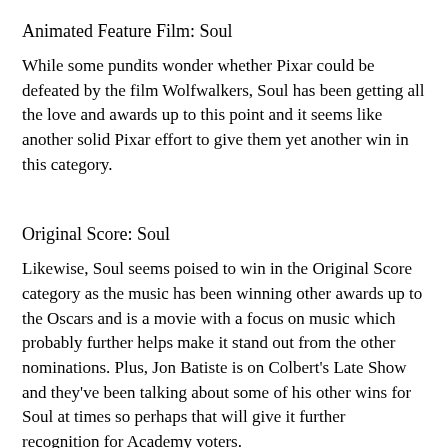Animated Feature Film: Soul
While some pundits wonder whether Pixar could be defeated by the film Wolfwalkers, Soul has been getting all the love and awards up to this point and it seems like another solid Pixar effort to give them yet another win in this category.
Original Score: Soul
Likewise, Soul seems poised to win in the Original Score category as the music has been winning other awards up to the Oscars and is a movie with a focus on music which probably further helps make it stand out from the other nominations. Plus, Jon Batiste is on Colbert's Late Show and they've been talking about some of his other wins for Soul at times so perhaps that will give it further recognition for Academy voters.
Best International Film: Another Round
It has a recognizable international star in Mads Mikkelson as the lead and the director was nominated for a Best Director award which doesn't happen often for an International (Foreign) Film as the Oscars only have 5 slots to give out for nominations. It would